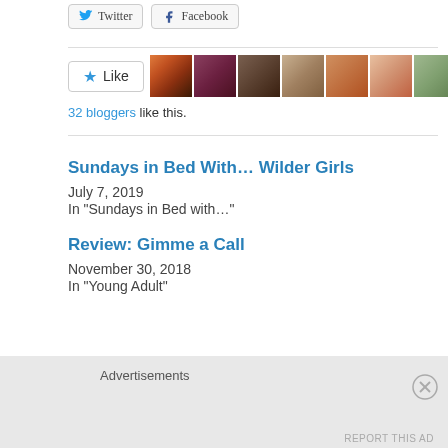[Figure (screenshot): Twitter and Facebook share buttons at the top]
[Figure (screenshot): Like button with star icon followed by 9 blogger avatar photos]
32 bloggers like this.
Sundays in Bed With... Wilder Girls
July 7, 2019
In "Sundays in Bed with..."
Review: Gimme a Call
November 30, 2018
In "Young Adult"
Advertisements